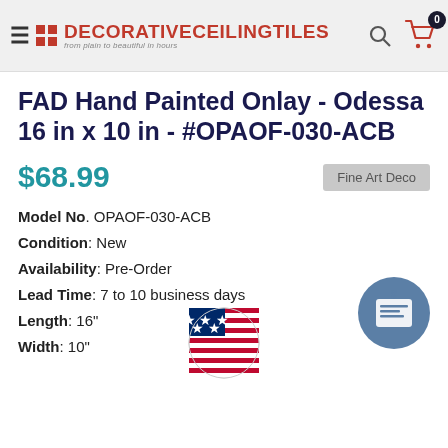DecorativeCeilingTiles — from plain to beautiful in hours
FAD Hand Painted Onlay - Odessa 16 in x 10 in - #OPAOF-030-ACB
$68.99
Fine Art Deco
Model No. OPAOF-030-ACB
Condition: New
Availability: Pre-Order
Lead Time: 7 to 10 business days
Length: 16"
Width: 10"